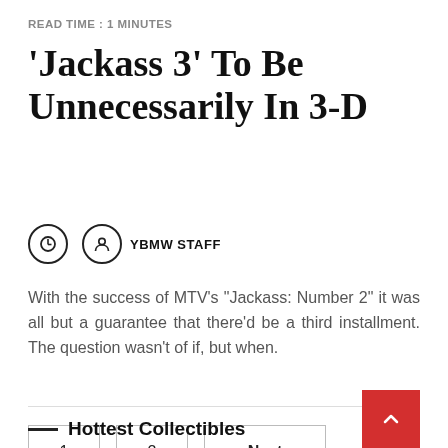READ TIME : 1 MINUTES
‘Jackass 3’ To Be Unnecessarily In 3-D
YBMW STAFF
With the success of MTV’s “Jackass: Number 2” it was all but a guarantee that there’d be a third installment. The question wasn’t of if, but when.
1
2
Next
Hottest Collectibles